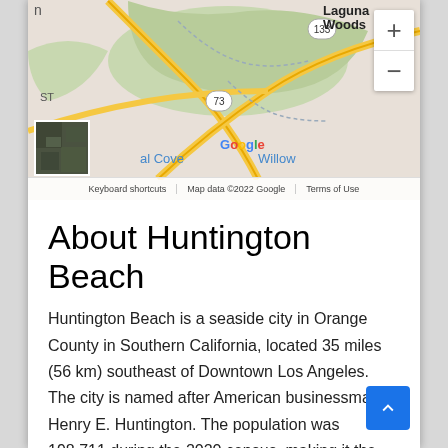[Figure (map): Google Maps view showing Laguna Woods area with routes 133 and 73, green open spaces, yellow roads, and map controls (zoom in/out). Shows 'al Cove' and 'Willow' text partially. Satellite thumbnail in bottom left. Google logo visible. Map data ©2022 Google.]
About Huntington Beach
Huntington Beach is a seaside city in Orange County in Southern California, located 35 miles (56 km) southeast of Downtown Los Angeles. The city is named after American businessman Henry E. Huntington. The population was 198,711 during the 2020 census, making it the